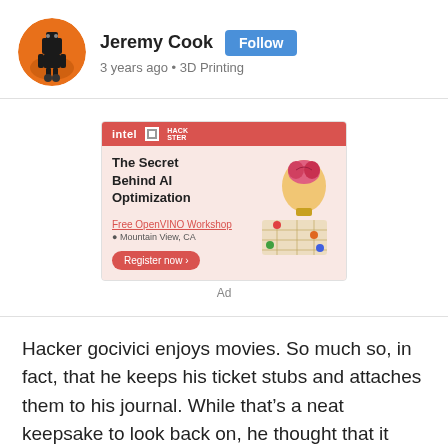[Figure (illustration): Circular avatar with orange/sunset background showing a dark silhouetted mechanical/robot figure]
Jeremy Cook
Follow
3 years ago • 3D Printing
[Figure (illustration): Intel Hackster.io advertisement card for 'The Secret Behind AI Optimization' - Free OpenVINO Workshop in Mountain View, CA with Register now button and illustrated brain/lightbulb graphic]
Ad
Hacker gocivici enjoys movies. So much so, in fact, that he keeps his ticket stubs and attaches them to his journal. While that's a neat keepsake to look back on, he thought that it would be even better if the